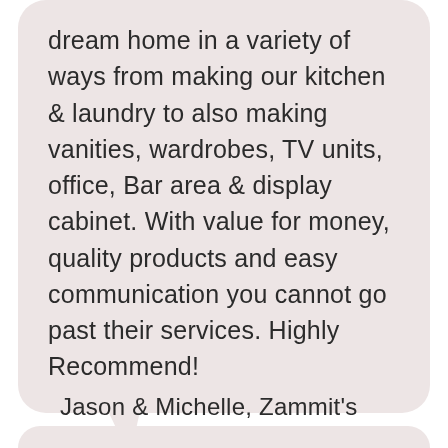dream home in a variety of ways from making our kitchen & laundry to also making vanities, wardrobes, TV units, office, Bar area & display cabinet. With value for money, quality products and easy communication you cannot go past their services. Highly Recommend!
Jason & Michelle, Zammit's Quality Constructions Pty Limited